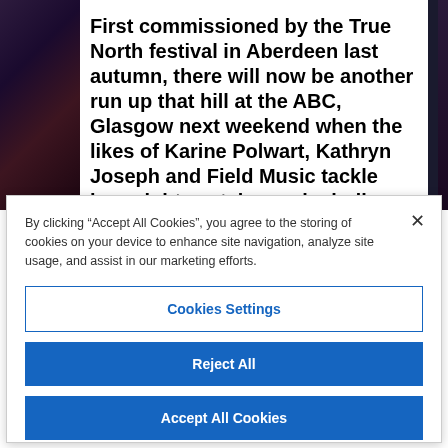First commissioned by the True North festival in Aberdeen last autumn, there will now be another run up that hill at the ABC, Glasgow next weekend when the likes of Karine Polwart, Kathryn Joseph and Field Music tackle her mighty catalogue, including songs which have never been
By clicking “Accept All Cookies”, you agree to the storing of cookies on your device to enhance site navigation, analyze site usage, and assist in our marketing efforts.
Cookies Settings
Reject All
Accept All Cookies